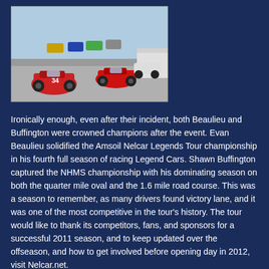[Figure (photo): Multiple vintage Legend Cars racing on a track, turning a corner. Red cars prominently in the foreground, with several other colorful cars behind them on a wide paved track with barriers visible.]
Ironically enough, even after their incident, both Beaulieu and Buffington were crowned champions after the event. Evan Beaulieu solidified the Amsoil Nelcar Legends Tour championship in his fourth full season of racing Legend Cars. Shawn Buffington captured the NHMS championship with his dominating season on both the quarter mile oval and the 1.6 mile road course. This was a season to remember, as many drivers found victory lane, and it was one of the most competitive in the tour's history. The tour would like to thank its competitors, fans, and sponsors for a successful 2011 season, and to keep updated over the offseason, and how to get involved before opening day in 2012, visit Nelcar.net.